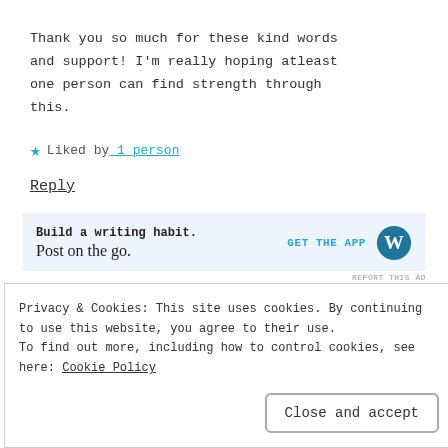Thank you so much for these kind words and support! I'm really hoping atleast one person can find strength through this.
★ Liked by 1 person
Reply
[Figure (screenshot): WordPress app advertisement banner: 'Build a writing habit. Post on the go.' with GET THE APP button and WordPress logo]
REPORT THIS AD
Privacy & Cookies: This site uses cookies. By continuing to use this website, you agree to their use. To find out more, including how to control cookies, see here: Cookie Policy
Close and accept